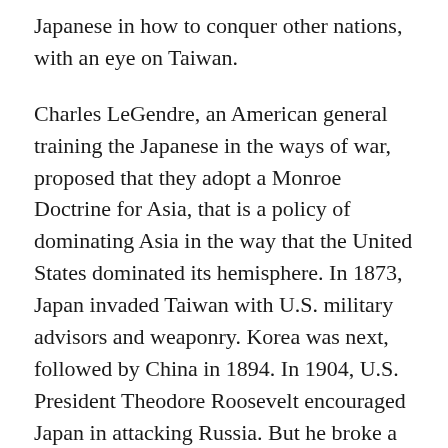Japanese in how to conquer other nations, with an eye on Taiwan.
Charles LeGendre, an American general training the Japanese in the ways of war, proposed that they adopt a Monroe Doctrine for Asia, that is a policy of dominating Asia in the way that the United States dominated its hemisphere. In 1873, Japan invaded Taiwan with U.S. military advisors and weaponry. Korea was next, followed by China in 1894. In 1904, U.S. President Theodore Roosevelt encouraged Japan in attacking Russia. But he broke a promise to Japan by refusing to go public with his support for its Monroe Doctrine, and he backed Russia's refusal to pay Japan a dime following the war. The Japanese empire became seen as a competitor rather than a proxy, and the U.S. military spent decades planning for a war with Japan.
Harry Truman, who would order the nuclear bombings in